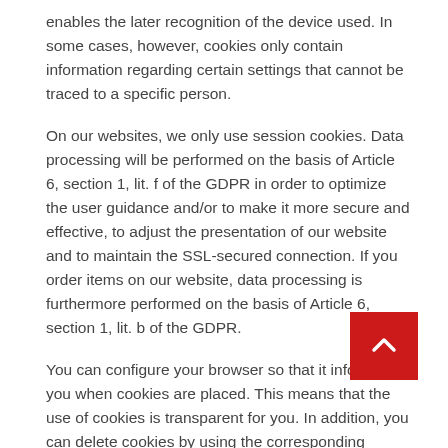enables the later recognition of the device used. In some cases, however, cookies only contain information regarding certain settings that cannot be traced to a specific person.
On our websites, we only use session cookies. Data processing will be performed on the basis of Article 6, section 1, lit. f of the GDPR in order to optimize the user guidance and/or to make it more secure and effective, to adjust the presentation of our website and to maintain the SSL-secured connection. If you order items on our website, data processing is furthermore performed on the basis of Article 6, section 1, lit. b of the GDPR.
You can configure your browser so that it informs you when cookies are placed. This means that the use of cookies is transparent for you. In addition, you can delete cookies by using the corresponding browser settings and prevent new cookies being placed. Please note that in this case our webpages may not be displayed optimally and some functions will be no longer available for technical reasons.